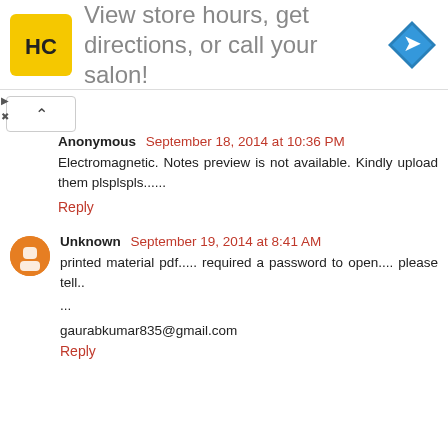[Figure (screenshot): Advertisement banner with HC logo, text 'View store hours, get directions, or call your salon!', and a blue direction arrow icon]
Anonymous September 18, 2014 at 10:36 PM
Electromagnetic. Notes preview is not available. Kindly upload them plsplspls......
Reply
Unknown September 19, 2014 at 8:41 AM
printed material pdf..... required a password to open.... please tell..
...
gaurabkumar835@gmail.com
Reply